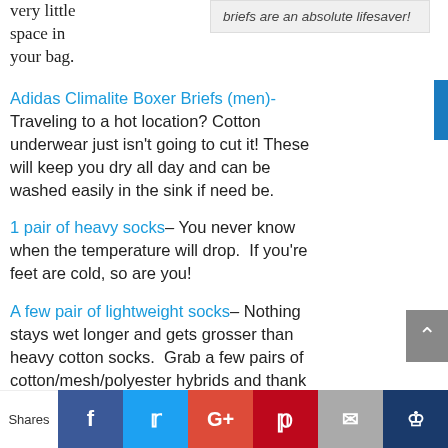very little space in your bag.
briefs are an absolute lifesaver!
Adidas Climalite Boxer Briefs (men)- Traveling to a hot location? Cotton underwear just isn't going to cut it! These will keep you dry all day and can be washed easily in the sink if need be.
1 pair of heavy socks– You never know when the temperature will drop. If you're feet are cold, so are you!
A few pair of lightweight socks– Nothing stays wet longer and gets grosser than heavy cotton socks. Grab a few pairs of cotton/mesh/polyester hybrids and thank
Shares | Facebook | Twitter | G+ | Pinterest | Email | Crown